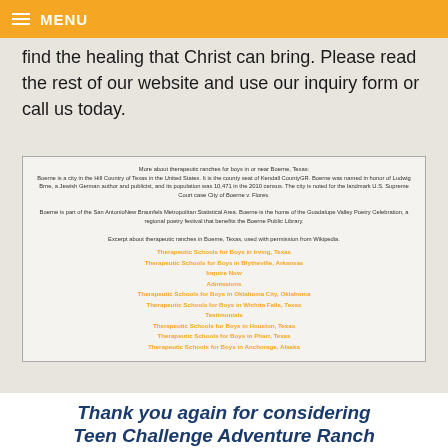≡ MENU
find the healing that Christ can bring. Please read the rest of our website and use our inquiry form or call us today.
More about therapeutic ranches for boys in or near Boerne, Texas: Boerne is a city in the Hill Country of Texas in the United States. It is the county seat of Kendall CountyGR. Boerne was named in honor of Ludwig Brne, a Jewish German author and publicist, and its population was 10,471 in the 2010 census. The city is noted for the landmark U.S. Supreme Court case City of Boerne v. Flores. Boerne is part of the San AntonioNew Braunfels Metropolitan Statistical Area. Boerne is the home of the Guadalupe Valley Poetry Celebration, a regional poetry festival that benefits the Boerne Public Library. Excerpt about therapeutic ranches in Boerne, Texas, used with permission from Wikipedia.
Therapeutic Schools for Boys in Irving, Texas
Therapeutic Schools for Boys in Blytheville, Arkansas
Inquire Now
Admissions
Therapeutic Schools for Boys in Oklahoma City, Oklahoma
Therapeutic Schools for Boys in Wichita Falls, Texas
Testimonials
Therapeutic Schools for Boys in Houston, Texas
Therapeutic Schools for Boys in Pharr, Texas
Therapeutic Schools for Boys in Anchorage, Alaska
Thank you again for considering Teen Challenge Adventure Ranch